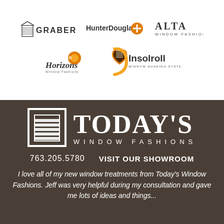[Figure (logo): Graber logo - building icon with GRABER text]
[Figure (logo): HunterDouglas logo with orange circle icon]
[Figure (logo): ALTA Window Fashions logo]
[Figure (logo): Horizons Window Fashions logo with orange circle]
[Figure (logo): Insolroll Window Shading Systems logo with heart shape]
[Figure (logo): Today's Window Fashions logo with window blind icon]
763.205.5780   VISIT OUR SHOWROOM
I love all of my new window treatments from Today's Window Fashions. Jeff was very helpful during my consultation and gave me lots of ideas and things...